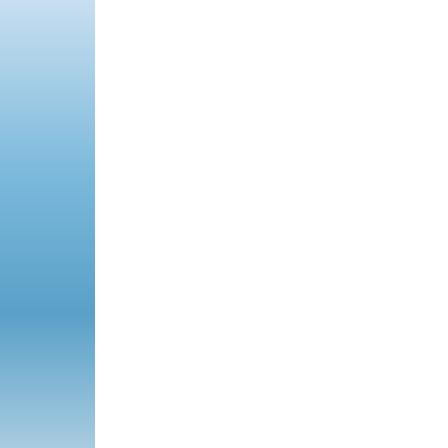"The 1946 Supreme cou delivered by Justice Ma South LGA ". The group
They further stressed th Nigerians who are not Ij aforementioned leases o saying that these proper were captured by the Co Hon. Ovuzuore Mcaulay ease their relocation.
The renowned Itsekiri gr in the rule of law have v but painfully no efforts h from their land.
In a chat with Worri Voi